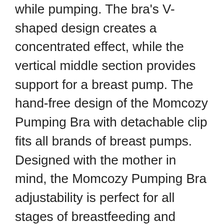while pumping. The bra's V-shaped design creates a concentrated effect, while the vertical middle section provides support for a breast pump. The hand-free design of the Momcozy Pumping Bra with detachable clip fits all brands of breast pumps. Designed with the mother in mind, the Momcozy Pumping Bra adjustability is perfect for all stages of breastfeeding and pumping.
One of the features of the Momcozy Pumping Bra is its adjustable shoulder straps. It also features an 'X' design and one-step clasps that allow for easy breastfeeding. It is comfortable to wear, made of 59% cotton and 32% modal. It works with most electric breast pumps. There are many sizes and colors available to suit all body types. While the adjustability is excellent,